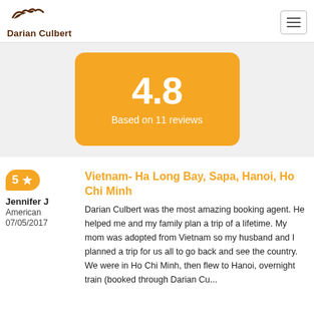Darian Culbert
[Figure (infographic): Orange rounded rectangle box showing rating 4.8 and text 'Based on 11 reviews']
[Figure (infographic): Orange badge with star showing rating 5]
Jennifer J
American
07/05/2017
Vietnam- Ha Long Bay, Sapa, Hanoi, Ho Chi Minh
Darian Culbert was the most amazing booking agent. He helped me and my family plan a trip of a lifetime. My mom was adopted from Vietnam so my husband and I planned a trip for us all to go back and see the country. We were in Ho Chi Minh, then flew to Hanoi, overnight train (booked through Darian Cu...